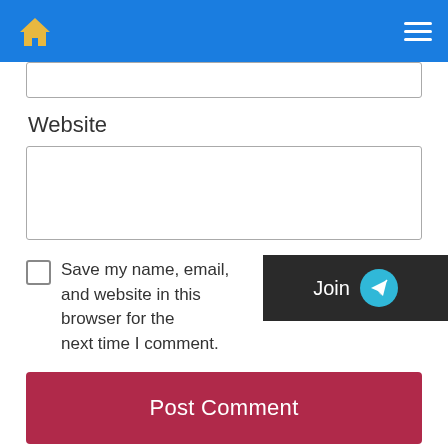Navigation bar with home icon and hamburger menu
Website
[Figure (screenshot): Website input text field (empty)]
Save my name, email, and website in this browser for the next time I comment.
[Figure (screenshot): Join Telegram overlay button]
Post Comment
Read Also This
BSF Head Constable RO RM Bharti 2022 | Online Application Form